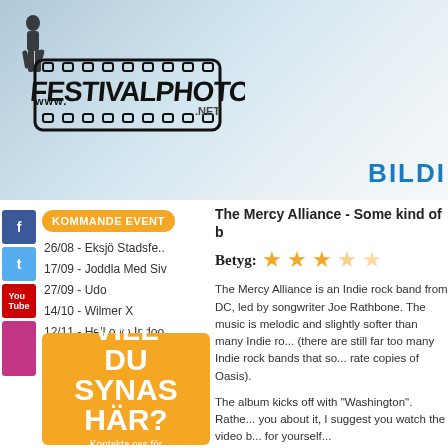[Figure (logo): FestivalPhoto.net logo with film strip and www.festivalphoto.net text, black and white illustration style on a light blue/grey gradient background]
BILDI
KOMMANDE EVENT
26/08 - Eksjö Stadsfe..
17/09 - Joddla Med Siv
27/09 - Udo
14/10 - Wilmer X
12/11 - Helltown Indoo..
[Figure (infographic): Orange advertisement box with text VILL DU SYNAS HÄR? Kontakta oss för mer info!]
The Mercy Alliance - Some kind of b
Betyg: ★★★☆☆
The Mercy Alliance is an Indie rock band from DC, led by songwriter Joe Rathbone. The music is melodic and slightly softer than many Indie rock (there are still far too many Indie rock bands that sound like rate copies of Oasis).
The album kicks off with "Washington". Rather than tell you about it, I suggest you watch the video below and judge for yourself...